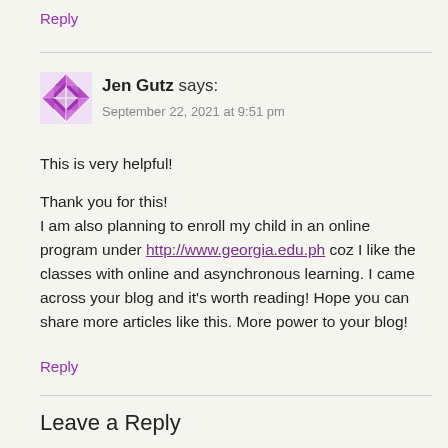Reply
Jen Gutz says:
September 22, 2021 at 9:51 pm
This is very helpful!

Thank you for this!
I am also planning to enroll my child in an online program under http://www.georgia.edu.ph coz I like the classes with online and asynchronous learning. I came across your blog and it's worth reading! Hope you can share more articles like this. More power to your blog!
Reply
Leave a Reply